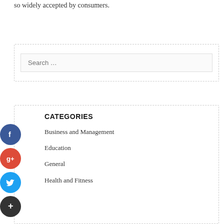so widely accepted by consumers.
[Figure (other): Search widget box with a search input field labeled 'Search …']
CATEGORIES
Business and Management
Education
General
Health and Fitness